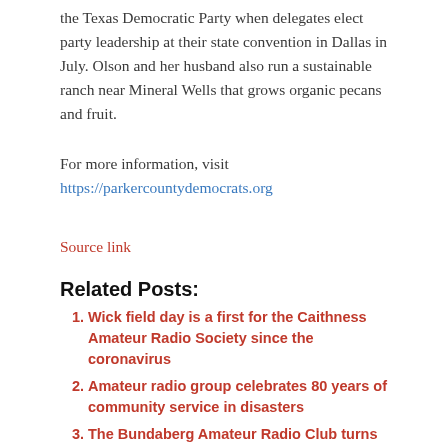the Texas Democratic Party when delegates elect party leadership at their state convention in Dallas in July. Olson and her husband also run a sustainable ranch near Mineral Wells that grows organic pecans and fruit.
For more information, visit https://parkercountydemocrats.org
Source link
Related Posts:
Wick field day is a first for the Caithness Amateur Radio Society since the coronavirus
Amateur radio group celebrates 80 years of community service in disasters
The Bundaberg Amateur Radio Club turns 60 – Bundaberg Now
Amateur Radio Salmon Run September 18-19